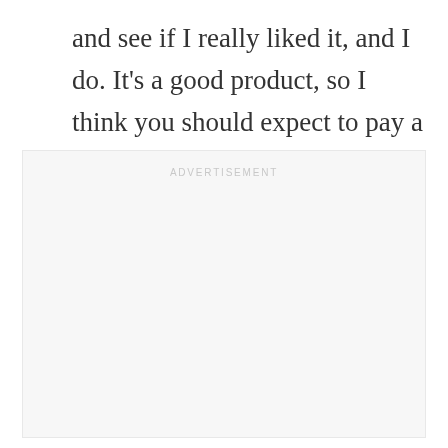and see if I really liked it, and I do. It's a good product, so I think you should expect to pay a little more for it.
[Figure (other): Advertisement placeholder box with the label 'ADVERTISEMENT' in light gray uppercase letters at the top center]